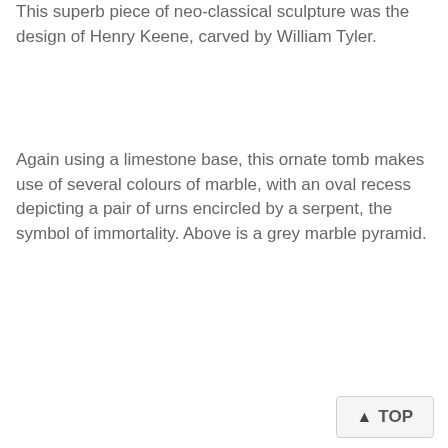This superb piece of neo-classical sculpture was the design of Henry Keene, carved by William Tyler.
Again using a limestone base, this ornate tomb makes use of several colours of marble, with an oval recess depicting a pair of urns encircled by a serpent, the symbol of immortality. Above is a grey marble pyramid.
TOP